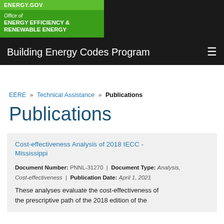ENERGY.GOV | Office of ENERGY EFFICIENCY & RENEWABLE ENERGY | Building Energy Codes Program
EERE » Technical Assistance » Publications
Publications
Cost-effectiveness Analysis of 2018 IECC - Mississippi
Document Number: PNNL-31270 | Document Type: Analysis, Cost-effectiveness | Publication Date: April 1, 2021
These analyses evaluate the cost-effectiveness of the prescriptive path of the 2018 edition of the